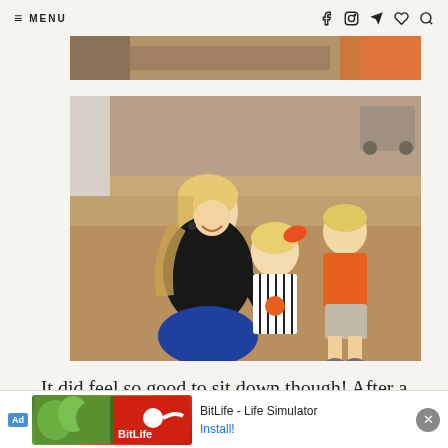≡ MENU
[Figure (photo): Partial top strip of a photo showing a sandy/outdoor scene with orange color at right]
[Figure (photo): A woman with blonde hair wearing a black top and leopard scarf kneeling with two young children outdoors on sandy ground. A girl in striped dress with orange bow, and a boy in orange shirt.]
It did feel so good to sit down though!  After a few minutes of show #2, we bailed again.  (And vow
[Figure (other): Advertisement banner: BitLife - Life Simulator game ad with Install button]